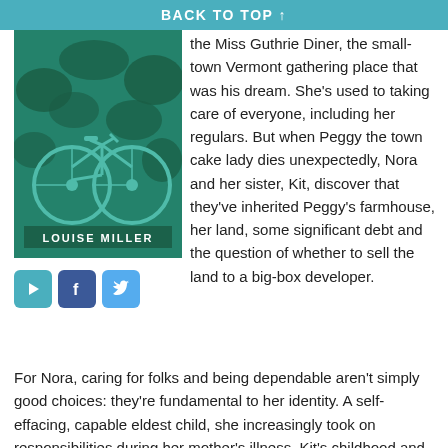BACK TO TOP ↑
[Figure (photo): Book cover of a novel by Louise Miller, showing a teal/green bicycle leaning against foliage]
[Figure (other): Social media icons: a play button (teal), Facebook (blue), and Twitter (blue bird)]
the Miss Guthrie Diner, the small-town Vermont gathering place that was his dream. She's used to taking care of everyone, including her regulars. But when Peggy the town cake lady dies unexpectedly, Nora and her sister, Kit, discover that they've inherited Peggy's farmhouse, her land, some significant debt and the question of whether to sell the land to a big-box developer.
For Nora, caring for folks and being dependable aren't simply good choices: they're fundamental to her identity. A self-effacing, capable eldest child, she increasingly took on responsibilities during her mother's illness, Kit's childhood and their father's slide into Alzheimer's. Kit, a freewheeling, exuberant filmmaker always in search of a home (and ready cash), returns to Guthrie to film her latest project and urge Nora to sell the land. As the townspeople argue over the sale, the sisters must reckon with the deep love and resentment that are part of their bond.